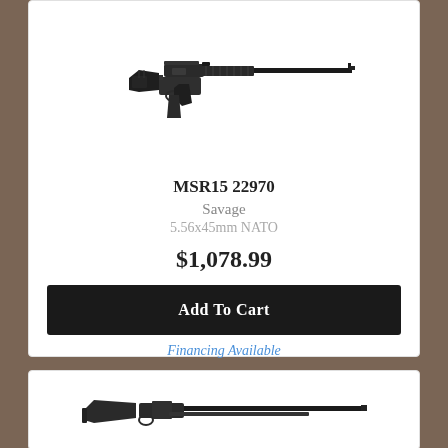[Figure (photo): AR-style rifle (MSR15) shown in profile view, black finish, with magazine inserted]
MSR15 22970
Savage
5.56x45mm NATO
$1,078.99
Add To Cart
Financing Available
[Figure (photo): Shotgun shown in profile view, black finish with long barrel]